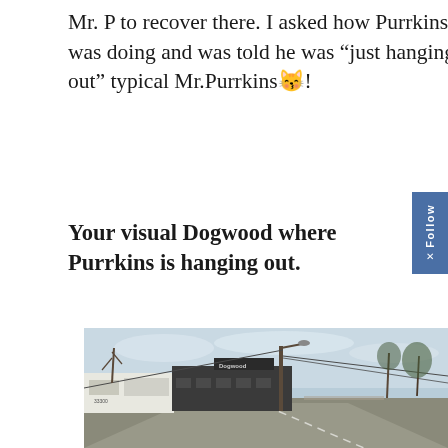Mr. P to recover there. I asked how Purrkins was doing and was told he was "just hanging out" typical Mr.Purrkins 😸!
Your visual Dogwood where Purrkins is hanging out.
[Figure (photo): Street-level photo taken from a car window showing a commercial building with signage reading 'Dogwood' and address '33300', utility poles with power lines, leafless trees, and a straight road stretching into the distance under an overcast sky.]